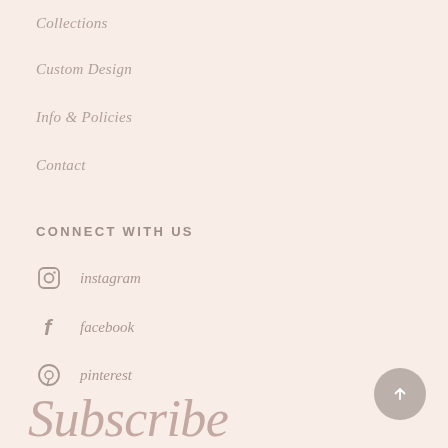Collections
Custom Design
Info & Policies
Contact
CONNECT WITH US
instagram
facebook
pinterest
Subscribe